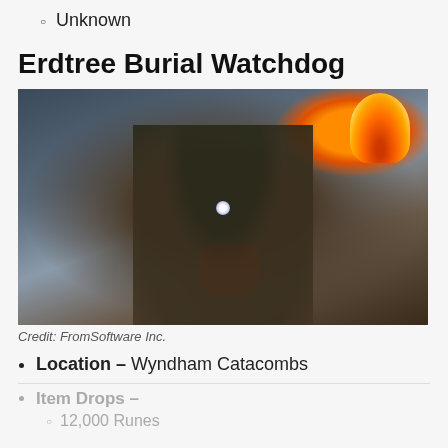Unknown
Erdtree Burial Watchdog
[Figure (photo): In-game screenshot of the Erdtree Burial Watchdog enemy from Elden Ring: a small skeletal cat-like creature holding a large sword, with a glowing orb on its chest, wearing a red cloth, and holding a flaming vine/arm in its other hand. Dark dungeon environment background.]
Credit: FromSoftware Inc.
Location – Wyndham Catacombs
Item Drops –
12,000 Runes